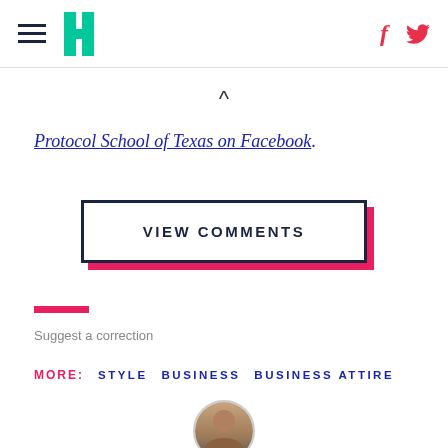HuffPost navigation with hamburger menu, logo, Facebook and Twitter icons
^
Protocol School of Texas on Facebook.
VIEW COMMENTS
Suggest a correction
MORE: STYLE BUSINESS BUSINESS ATTIRE
[Figure (photo): Circular author photo at the bottom of the page]